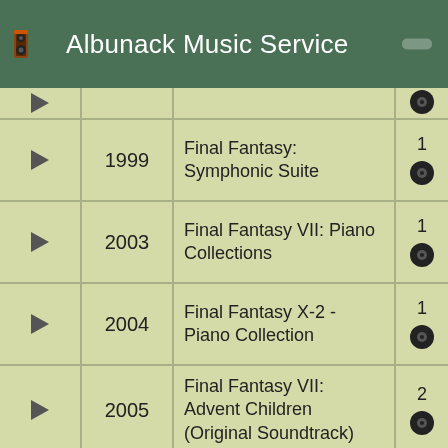Albunack Music Service
| Play | Year | Title | Count |
| --- | --- | --- | --- |
| ▶ | 1999 | Final Fantasy: Symphonic Suite | 1 |
| ▶ | 2003 | Final Fantasy VII: Piano Collections | 1 |
| ▶ | 2004 | Final Fantasy X-2 - Piano Collection | 1 |
| ▶ | 2005 | Final Fantasy VII: Advent Children (Original Soundtrack) | 2 |
| ▶ | 2007 | Final Fantasy XI : Original Soundtrack Premium Box | 1 |
| ▶ | 2012 | Reiki Japan | 1 |
| ▶ | 2014 | A New World: Intimate Music From Final Fantasy | 1 |